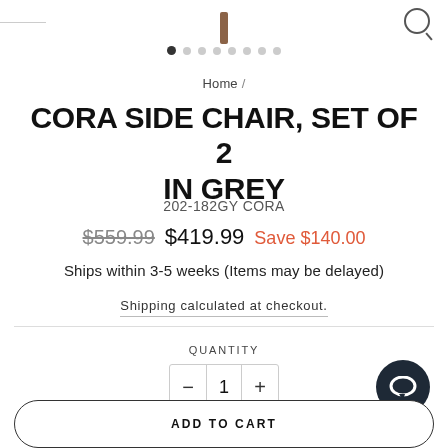[Figure (screenshot): Partial product image showing chair leg at top, with carousel dots below]
Home /
CORA SIDE CHAIR, SET OF 2 IN GREY
202-182GY CORA
$559.99  $419.99  Save $140.00
Ships within 3-5 weeks (Items may be delayed)
Shipping calculated at checkout.
QUANTITY
1
ADD TO CART